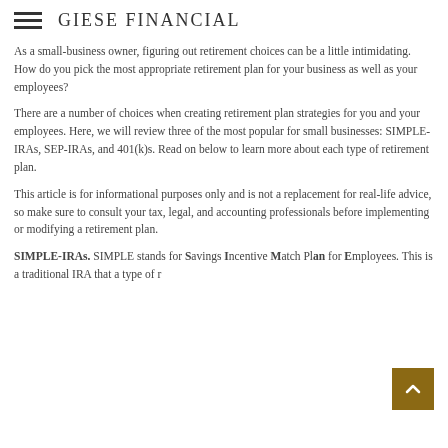GIESE FINANCIAL
As a small-business owner, figuring out retirement choices can be a little intimidating. How do you pick the most appropriate retirement plan for your business as well as your employees?
There are a number of choices when creating retirement plan strategies for you and your employees. Here, we will review three of the most popular for small businesses: SIMPLE-IRAs, SEP-IRAs, and 401(k)s. Read on below to learn more about each type of retirement plan.
This article is for informational purposes only and is not a replacement for real-life advice, so make sure to consult your tax, legal, and accounting professionals before implementing or modifying a retirement plan.
SIMPLE-IRAs. SIMPLE stands for Savings Incentive Match Plan for Employees. This is a traditional IRA that a type of...